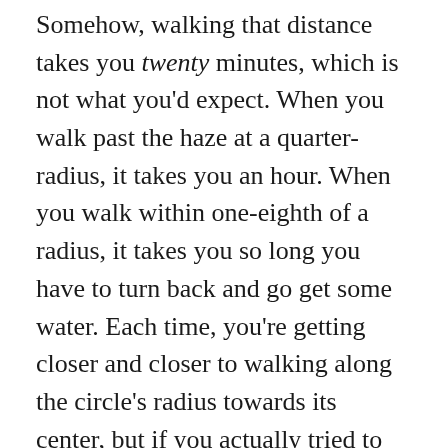Somehow, walking that distance takes you twenty minutes, which is not what you'd expect. When you walk past the haze at a quarter-radius, it takes you an hour. When you walk within one-eighth of a radius, it takes you so long you have to turn back and go get some water. Each time, you're getting closer and closer to walking along the circle's radius towards its center, but if you actually tried to walk directly into its center, where the haze is (the haze is because there's so much air between you and the stuff beyond the haze, which is the same reason distant mountains look blue), you would find that the distance is